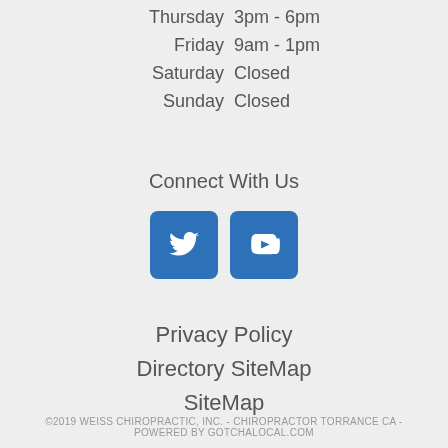Thursday  3pm - 6pm
Friday  9am - 1pm
Saturday  Closed
Sunday  Closed
Connect With Us
[Figure (illustration): Twitter and YouTube social media icon buttons (blue rounded squares)]
Privacy Policy
Directory SiteMap
SiteMap
©2019 WEISS CHIROPRACTIC, INC. - CHIROPRACTOR TORRANCE CA - POWERED BY GOTCHALOCAL.COM